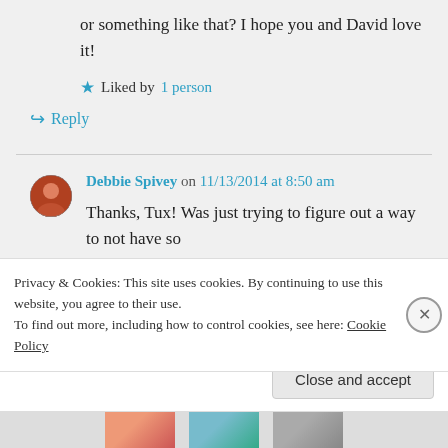or something like that? I hope you and David love it!
★ Liked by 1 person
↪ Reply
Debbie Spivey on 11/13/2014 at 8:50 am
Thanks, Tux! Was just trying to figure out a way to not have so
Privacy & Cookies: This site uses cookies. By continuing to use this website, you agree to their use.
To find out more, including how to control cookies, see here: Cookie Policy
Close and accept